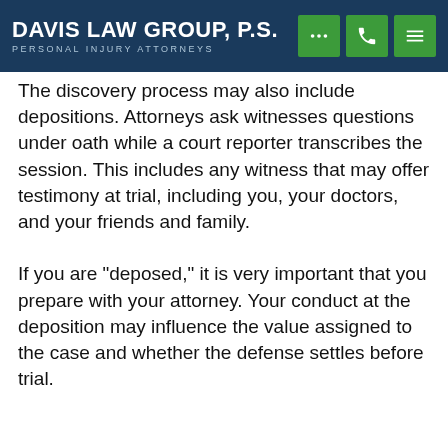Davis Law Group, P.S. — Personal Injury Attorneys
The discovery process may also include depositions. Attorneys ask witnesses questions under oath while a court reporter transcribes the session. This includes any witness that may offer testimony at trial, including you, your doctors, and your friends and family.
If you are "deposed," it is very important that you prepare with your attorney. Your conduct at the deposition may influence the value assigned to the case and whether the defense settles before trial.